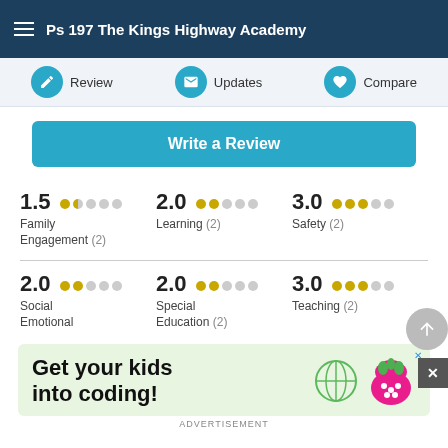Ps 197 The Kings Highway Academy
Review | Updates | Compare
Write a Review
1.5 Family Engagement (2)
2.0 Learning (2)
3.0 Safety (2)
2.0 Social Emotional
2.0 Special Education (2)
3.0 Teaching (2)
[Figure (screenshot): Advertisement banner with green background showing 'Get your kids into coding!' with raspberry pi logo]
ADVERTISEMENT